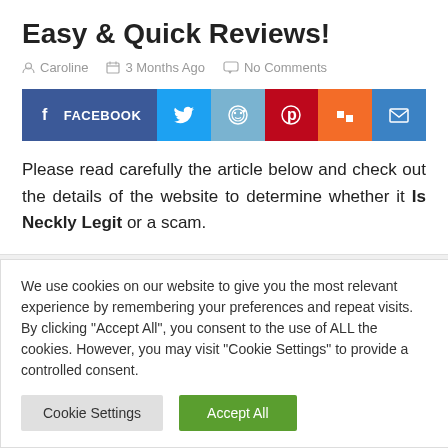Easy & Quick Reviews!
Caroline   3 Months Ago   No Comments
[Figure (infographic): Social sharing buttons row: Facebook (dark blue, wide), Twitter (light blue), Reddit (light blue-grey), Pinterest (red), Mix (orange), Email (blue)]
Please read carefully the article below and check out the details of the website to determine whether it Is Neckly Legit or a scam.
We use cookies on our website to give you the most relevant experience by remembering your preferences and repeat visits. By clicking "Accept All", you consent to the use of ALL the cookies. However, you may visit "Cookie Settings" to provide a controlled consent.